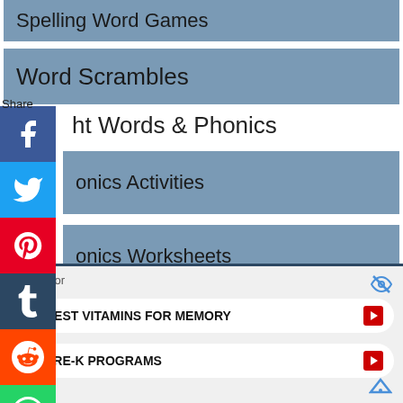Spelling Word Games
Word Scrambles
Sight Words & Phonics
onics Activities
onics Worksheets
ght Word Games
Share
Search for
1  BEST VITAMINS FOR MEMORY
2  PRE-K PROGRAMS